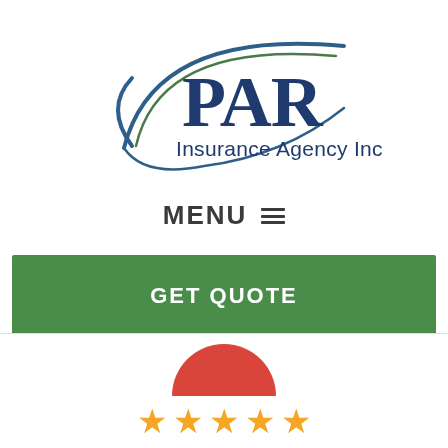[Figure (logo): PAR Insurance Agency Inc. logo with blue oval/arc swoosh graphic and dark blue serif text]
MENU ☰
GET QUOTE
[Figure (illustration): Partial red circle/badge visible at bottom center, partially cropped]
[Figure (illustration): Five gold star rating icons in a row]